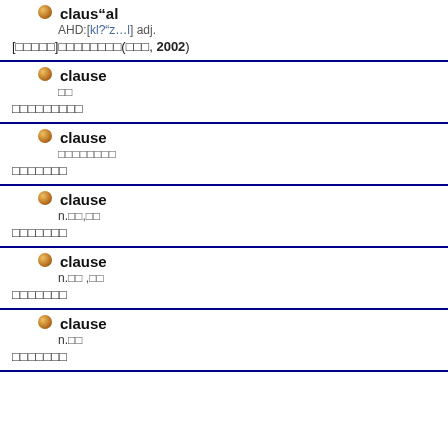claus"al AHD:[kl?"z…l] adj. [□□□□□]□□□□□□□□(□□□, 2002)
clause □□ □□□□□□□□□□
clause □□□□□□□□ □□□□□□□
clause n.□□,□□ □□□□□□□
clause n.□□ ,□□ □□□□□□□
clause n.□□ □□□□□□□